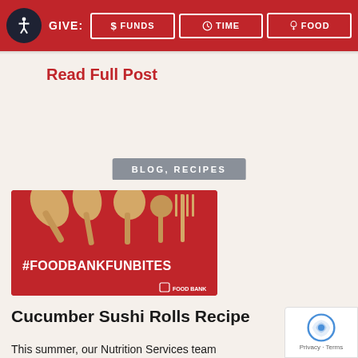GIVE: $ FUNDS  TIME  FOOD
Read Full Post
BLOG, RECIPES
[Figure (photo): Red background image with wooden utensils (spoons, fork) and text #FOODBANKFUNBITES and Food Bank logo]
Cucumber Sushi Rolls Recipe
This summer, our Nutrition Services team